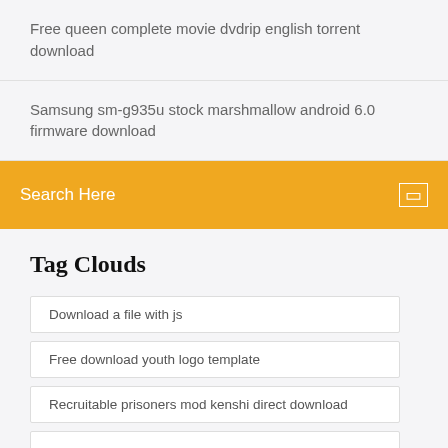Free queen complete movie dvdrip english torrent download
Samsung sm-g935u stock marshmallow android 6.0 firmware download
Search Here
Tag Clouds
Download a file with js
Free download youth logo template
Recruitable prisoners mod kenshi direct download